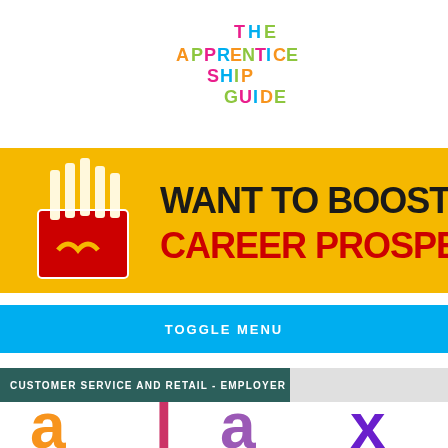[Figure (logo): The Apprenticeship Guide logo with multicolored blocky letters]
[Figure (infographic): McDonald's promotional banner with fries illustration: 'WANT TO BOOST CAREER PROSPE...' in yellow background]
TOGGLE MENU
CUSTOMER SERVICE AND RETAIL - EMPLOYER
[Figure (logo): Partial colorful logo letters visible at bottom of page]